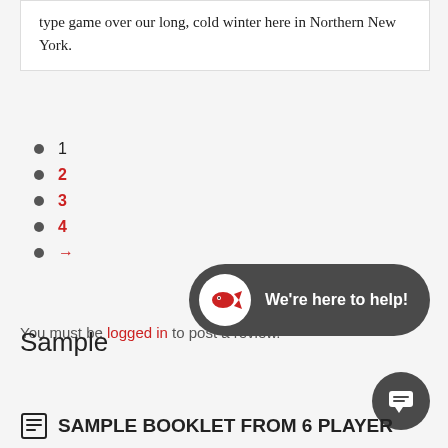type game over our long, cold winter here in Northern New York.
1
2
3
4
→
You must be logged in to post a review.
[Figure (other): Chat widget with fish logo and text 'We're here to help!']
Sample
SAMPLE BOOKLET FROM 6 PLAYER GAME